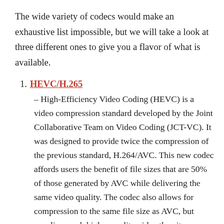The wide variety of codecs would make an exhaustive list impossible, but we will take a look at three different ones to give you a flavor of what is available.
1. HEVC/H.265 – High-Efficiency Video Coding (HEVC) is a video compression standard developed by the Joint Collaborative Team on Video Coding (JCT-VC). It was designed to provide twice the compression of the previous standard, H.264/AVC. This new codec affords users the benefit of file sizes that are 50% of those generated by AVC while delivering the same video quality. The codec also allows for compression to the same file size as AVC, but supplies much higher quality video than its predecessor.
2. Xvid – Xvid is an open-source codec that provides high performance and is compatible with many video players and operating systems. It offers strong compression capabilities and though it is a lossy codec, the developers have attempted to minimize video quality degradation by